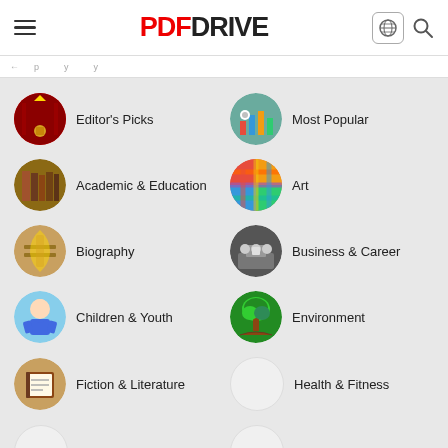PDF DRIVE
Editor's Picks
Most Popular
Academic & Education
Art
Biography
Business & Career
Children & Youth
Environment
Fiction & Literature
Health & Fitness
Lifestyle
Personal Growth
Politics & Laws
Religion